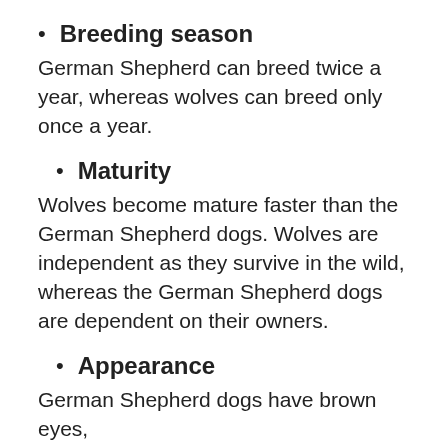Breeding season
German Shepherd can breed twice a year, whereas wolves can breed only once a year.
Maturity
Wolves become mature faster than the German Shepherd dogs. Wolves are independent as they survive in the wild, whereas the German Shepherd dogs are dependent on their owners.
Appearance
German Shepherd dogs have brown eyes,